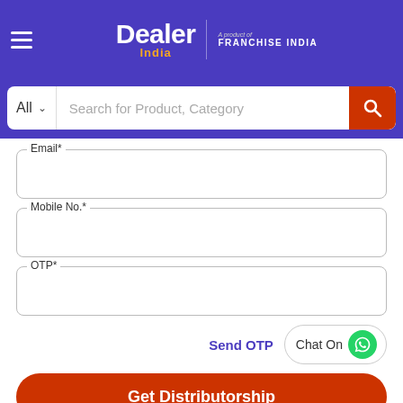[Figure (screenshot): Dealer India app header with hamburger menu, logo 'Dealer India' and 'A product of FRANCHISE INDIA' branding]
[Figure (screenshot): Search bar with 'All' dropdown and 'Search for Product, Category' placeholder and red search button]
Email*
Mobile No.*
OTP*
Send OTP
Chat On
Get Distributorship
Skip OTP